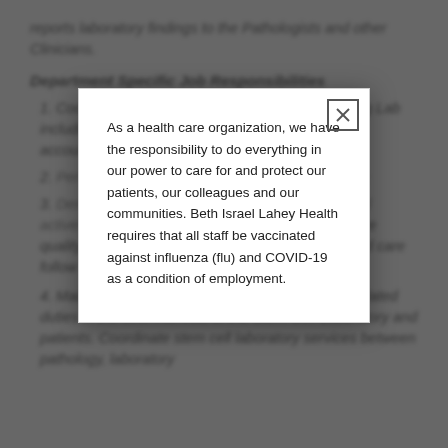reports laboratory findings to the Pathologists and other Clinicians.
Department Specific Job Responsibilities
1. Coordinate functions of the Stem Cell Processing Lab including scheduling, inventory control, ensuring accountability and reliable laboratory results.
As a health care organization, we have the responsibility to do everything in our power to care for and protect our patients, our colleagues and our communities. Beth Israel Lahey Health requires that all staff be vaccinated against influenza (flu) and COVID-19 as a condition of employment.
4. Maintain efficient record systems and perform related duties in the best interests of the Stem Cell Laboratory and patients. Coordinate stem cell laboratory services between pathology, laboratory